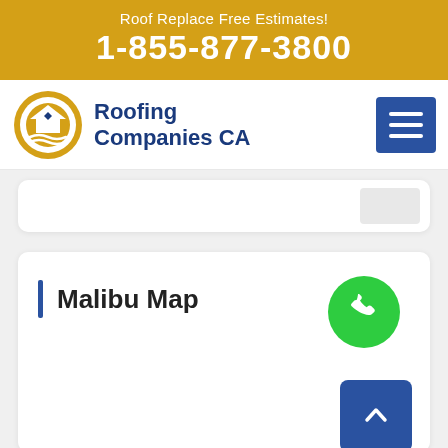Roof Replace Free Estimates! 1-855-877-3800
[Figure (logo): Roofing Companies CA logo with house icon and text]
[Figure (other): Hamburger menu icon (three horizontal white lines on blue square background)]
Malibu Map
[Figure (other): Green circular phone call button with white phone icon]
[Figure (other): Blue back-to-top button with upward chevron arrow]